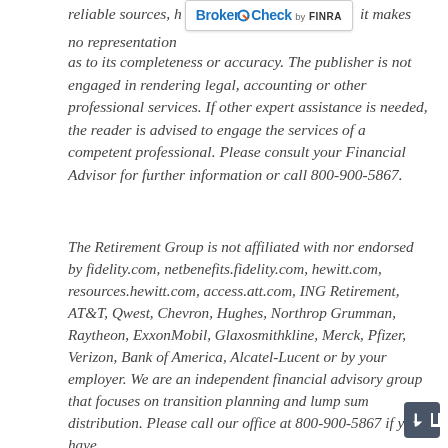reliable sources, however, it makes no representation as to its completeness or accuracy. The publisher is not engaged in rendering legal, accounting or other professional services. If other expert assistance is needed, the reader is advised to engage the services of a competent professional. Please consult your Financial Advisor for further information or call 800-900-5867.
The Retirement Group is not affiliated with nor endorsed by fidelity.com, netbenefits.fidelity.com, hewitt.com, resources.hewitt.com, access.att.com, ING Retirement, AT&T, Qwest, Chevron, Hughes, Northrop Grumman, Raytheon, ExxonMobil, Glaxosmithkline, Merck, Pfizer, Verizon, Bank of America, Alcatel-Lucent or by your employer. We are an independent financial advisory group that focuses on transition planning and lump sum distribution. Please call our office at 800-900-5867 if you have